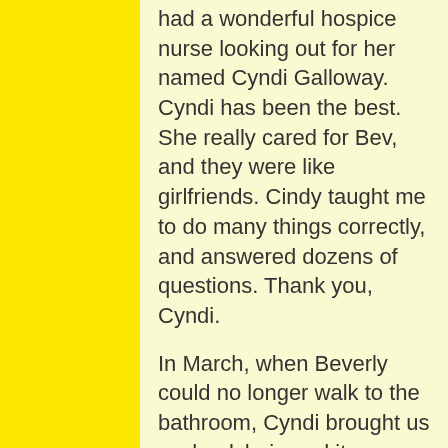had a wonderful hospice nurse looking out for her named Cyndi Galloway. Cyndi has been the best. She really cared for Bev, and they were like girlfriends. Cindy taught me to do many things correctly, and answered dozens of questions. Thank you, Cyndi.

In March, when Beverly could no longer walk to the bathroom, Cyndi brought us a wheelchair, and it